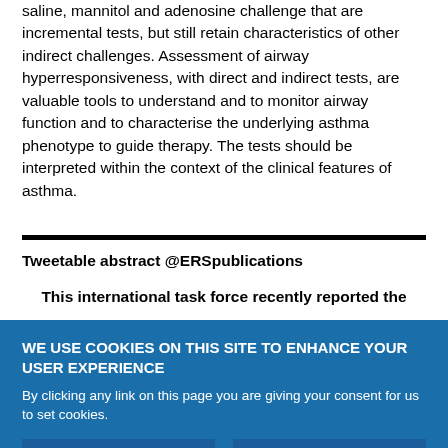saline, mannitol and adenosine challenge that are incremental tests, but still retain characteristics of other indirect challenges. Assessment of airway hyperresponsiveness, with direct and indirect tests, are valuable tools to understand and to monitor airway function and to characterise the underlying asthma phenotype to guide therapy. The tests should be interpreted within the context of the clinical features of asthma.
Tweetable abstract @ERSpublications
This international task force recently reported the
WE USE COOKIES ON THIS SITE TO ENHANCE YOUR USER EXPERIENCE
By clicking any link on this page you are giving your consent for us to set cookies.